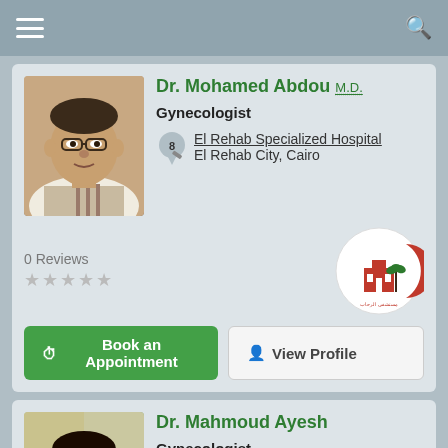Navigation bar with menu and search icons
Dr. Mohamed Abdou M.D. – Gynecologist – El Rehab Specialized Hospital, El Rehab City, Cairo – 0 Reviews
[Figure (photo): Headshot of Dr. Mohamed Abdou in white coat]
[Figure (logo): El Rehab Specialized Hospital logo – red crescent with building and palm tree]
Book an Appointment | View Profile
Dr. Mahmoud Ayesh – Gynecologist – Zaher Zone Clinics, Nasr City, Cairo
[Figure (photo): Headshot of Dr. Mahmoud Ayesh in blue jacket with glasses]